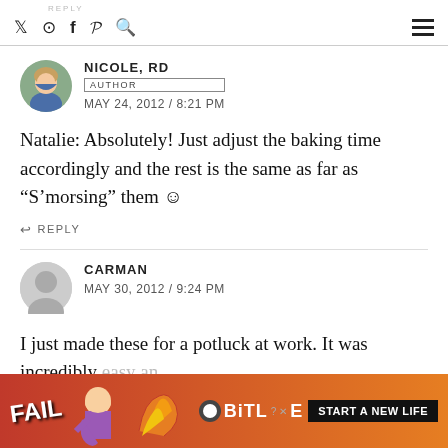REPLY | Twitter Instagram Facebook Pinterest Search | Menu
NICOLE, RD
AUTHOR
MAY 24, 2012 / 8:21 PM
Natalie: Absolutely! Just adjust the baking time accordingly and the rest is the same as far as “S’morsing” them ☺
REPLY
CARMAN
MAY 30, 2012 / 9:24 PM
I just made these for a potluck at work. It was incredibly easy an… …ow in the hec…
[Figure (screenshot): BitLife advertisement banner with FAIL text and character, Start a New Life button]